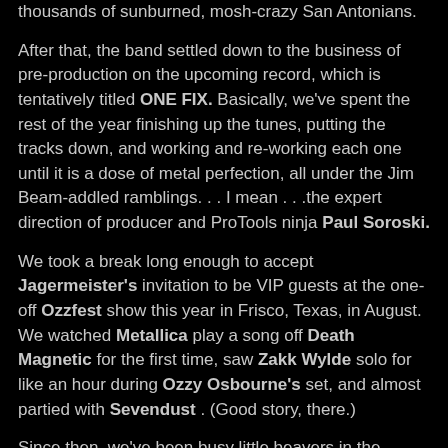thousands of sunburned, mosh-crazy San Antonians.
After that, the band settled down to the business of pre-production on the upcoming record, which is tentatively titled ONE FIX. Basically, we've spent the rest of the year finishing up the tunes, putting the tracks down, and working and re-working each one until it is a dose of metal perfection, all under the Jim Beam-addled ramblings. . . I mean . . .the expert direction of producer and ProTools ninja Paul Soroski.
We took a break long enough to accept Jagermeister's invitation to be VIP guests at the one-off Ozzfest show this year in Frisco, Texas, in August. We watched Metallica play a song off Death Magnetic for the first time, saw Zakk Wylde solo for like an hour during Ozzy Osbourne's set, and almost partied with Sevendust . (Good story, there.)
Since then, we've been busy little beavers in the studio and preparing to unleash ONE FIX sometime in early 2009. We in Powderburn would like to take this time to thank all of you for all your support during the last year, both live and online.